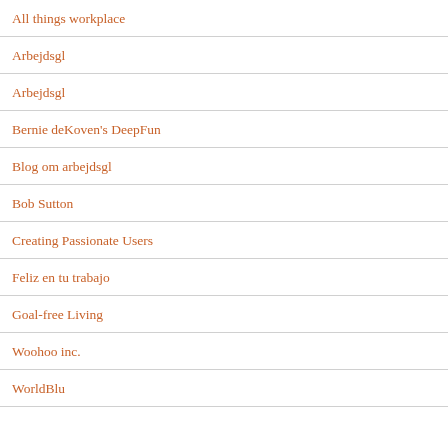All things workplace
Arbejdsgl
Arbejdsgl
Bernie deKoven's DeepFun
Blog om arbejdsgl
Bob Sutton
Creating Passionate Users
Feliz en tu trabajo
Goal-free Living
Woohoo inc.
WorldBlu